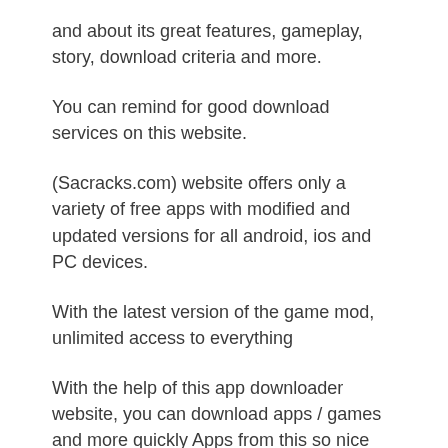and about its great features, gameplay, story, download criteria and more.
You can remind for good download services on this website.
(Sacracks.com) website offers only a variety of free apps with modified and updated versions for all android, ios and PC devices.
With the latest version of the game mod, unlimited access to everything
With the help of this app downloader website, you can download apps / games and more quickly Apps from this so nice Site.